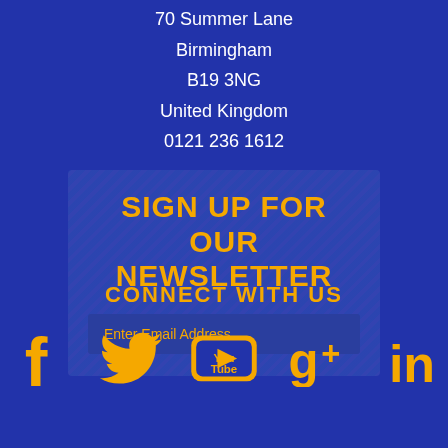70 Summer Lane
Birmingham
B19 3NG
United Kingdom
0121 236 1612
SIGN UP FOR OUR NEWSLETTER
Enter Email Address
CONNECT WITH US
[Figure (infographic): Social media icons for Facebook, Twitter, YouTube, Google+, and LinkedIn in gold/orange color on blue background]